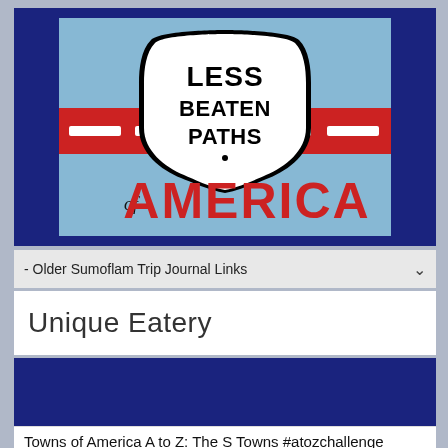[Figure (logo): Less Beaten Paths of America logo — road sign shield with text 'LESS BEATEN PATHS' on light blue background with red road stripe and white dashes, and 'of AMERICA' in large red letters below]
- Older Sumoflam Trip Journal Links
Unique Eatery
Towns of America A to Z: The S Towns #atozchallenge
[Figure (photo): Partial photo showing natural foliage and a birdhouse, bottom of page]